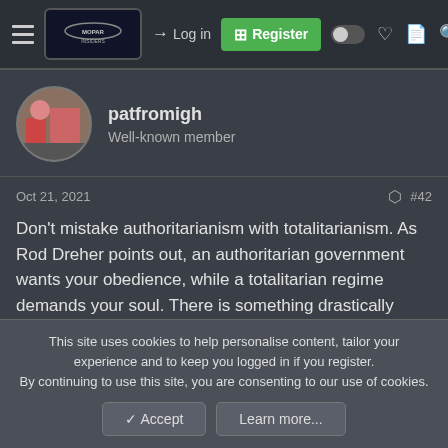Mopar Insiders — Log in | Register
patfromigh
Well-known member
Oct 21, 2021  #42
Don't mistake authoritarianism with totalitarianism. As Rod Dreher points out, an authoritarian government wants your obedience, while a totalitarian regime demands your soul. There is something drastically wrong when the Feds will investigate parents who complain at school board meetings. I worry more about the loss of freedoms here in the United States than whatever happens overseas.
This site uses cookies to help personalise content, tailor your experience and to keep you logged in if you register.
By continuing to use this site, you are consenting to our use of cookies.
Accept  Learn more...